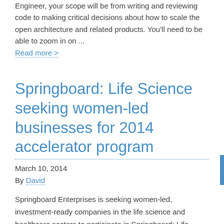Engineer, your scope will be from writing and reviewing code to making critical decisions about how to scale the open architecture and related products. You'll need to be able to zoom in on ...
Read more >
Springboard: Life Science seeking women-led businesses for 2014 accelerator program
March 10, 2014
By David
Springboard Enterprises is seeking women-led, investment-ready companies in the life science and healthcare sectors to participate in Springboard: Life Science 2014 – a four-month accelerator program that offers intense coaching opportunities with industry experts, investors, and